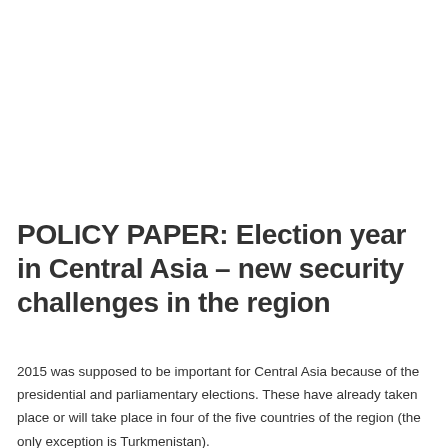POLICY PAPER: Election year in Central Asia – new security challenges in the region
2015 was supposed to be important for Central Asia because of the presidential and parliamentary elections. These have already taken place or will take place in four of the five countries of the region (the only exception is Turkmenistan).